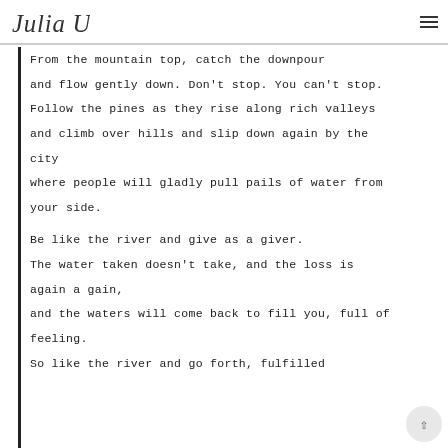Julia Uttley [logo/signature]
From the mountain top, catch the downpour and flow gently down. Don't stop. You can't stop. Follow the pines as they rise along rich valleys and climb over hills and slip down again by the city where people will gladly pull pails of water from your side.

Be like the river and give as a giver. The water taken doesn't take, and the loss is again a gain, and the waters will come back to fill you, full of feeling. So like the river and go forth, fulfilled